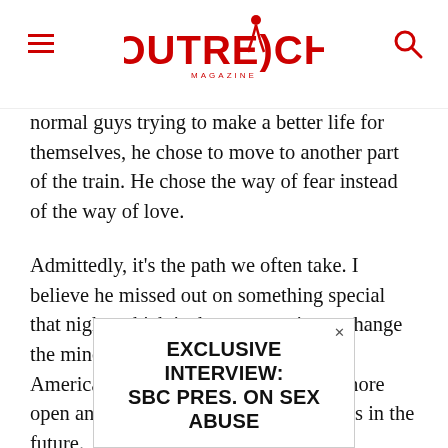Outreach Magazine
normal guys trying to make a better life for themselves, he chose to move to another part of the train. He chose the way of fear instead of the way of love.
Admittedly, it’s the path we often take. I believe he missed out on something special that night, which is the opportunity to change the minds of these two strangers about America and to change himself into a more open and loving person toward strangers in the future.
[Figure (other): Advertisement banner: EXCLUSIVE INTERVIEW: SBC PRES. ON SEX ABUSE]